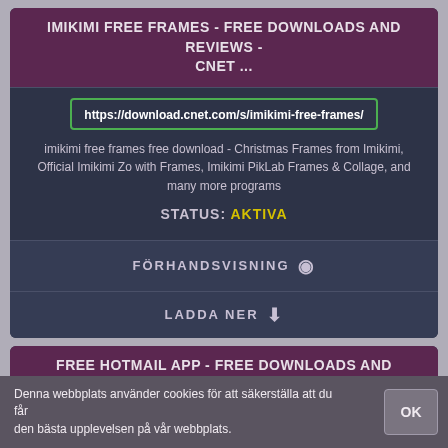IMIKIMI FREE FRAMES - FREE DOWNLOADS AND REVIEWS - CNET ...
https://download.cnet.com/s/imikimi-free-frames/
imikimi free frames free download - Christmas Frames from Imikimi, Official Imikimi Zo with Frames, Imikimi PikLab Frames & Collage, and many more programs
STATUS: AKTIVA
FÖRHANDSVISNING 👁
LADDA NER ⬇
FREE HOTMAIL APP - FREE DOWNLOADS AND REVIEWS - CNET ...
Denna webbplats använder cookies för att säkerställa att du får den bästa upplevelsen på vår webbplats.
OK